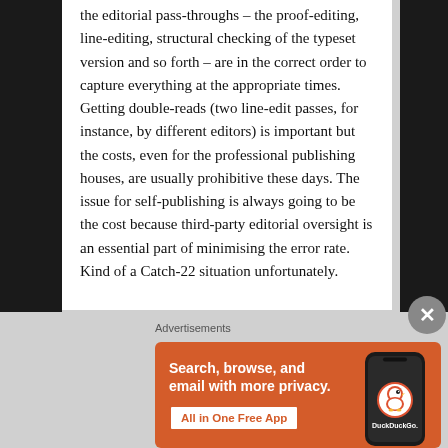the editorial pass-throughs – the proof-editing, line-editing, structural checking of the typeset version and so forth – are in the correct order to capture everything at the appropriate times. Getting double-reads (two line-edit passes, for instance, by different editors) is important but the costs, even for the professional publishing houses, are usually prohibitive these days. The issue for self-publishing is always going to be the cost because third-party editorial oversight is an essential part of minimising the error rate. Kind of a Catch-22 situation unfortunately.
Advertisements
[Figure (screenshot): DuckDuckGo advertisement banner with orange background. Left side shows white bold text 'Search, browse, and email with more privacy.' and a white button 'All in One Free App'. Right side shows a dark smartphone mockup with the DuckDuckGo circular logo and the text 'DuckDuckGo.' below it.]